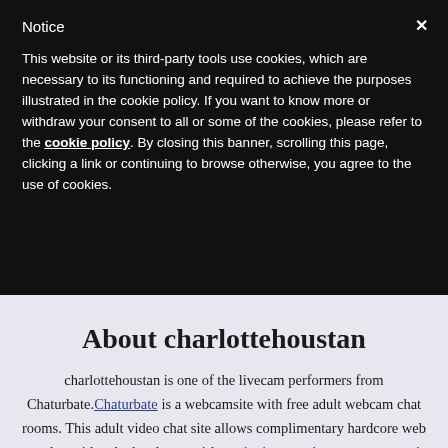Notice
This website or its third-party tools use cookies, which are necessary to its functioning and required to achieve the purposes illustrated in the cookie policy. If you want to know more or withdraw your consent to all or some of the cookies, please refer to the cookie policy. By closing this banner, scrolling this page, clicking a link or continuing to browse otherwise, you agree to the use of cookies.
About charlottehoustan
charlottehoustan is one of the livecam performers from Chaturbate. Chaturbate is a webcamsite with free adult webcam chat rooms. This adult video chat site allows complimentary hardcore web cam chat with naked web cam girls, swinging couples, amateur trannies and nude men. No registration is necessary to watch